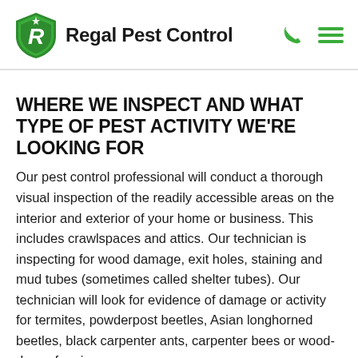Regal Pest Control
WHERE WE INSPECT AND WHAT TYPE OF PEST ACTIVITY WE'RE LOOKING FOR
Our pest control professional will conduct a thorough visual inspection of the readily accessible areas on the interior and exterior of your home or business. This includes crawlspaces and attics. Our technician is inspecting for wood damage, exit holes, staining and mud tubes (sometimes called shelter tubes). Our technician will look for evidence of damage or activity for termites, powderpost beetles, Asian longhorned beetles, black carpenter ants, carpenter bees or wood-decay fungi.
INSPECTIONS ARE SUBMITTED ON FORM NPMA-33